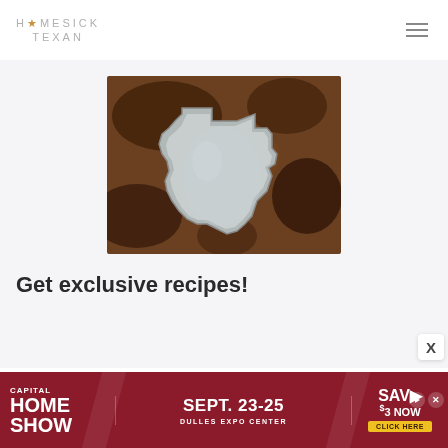HOMESICK TEXAN
[Figure (photo): A Texas-shaped metal cookie cutter or baking pan on a dark brown mottled background, viewed from above. The pan is made of silver/gray metal and shows the outline of the state of Texas.]
Get exclusive recipes!
[Figure (infographic): Advertisement banner for Capital Home Show, Sept. 23-25, Dulles Expo Center, Save $3 Now, Click Here]